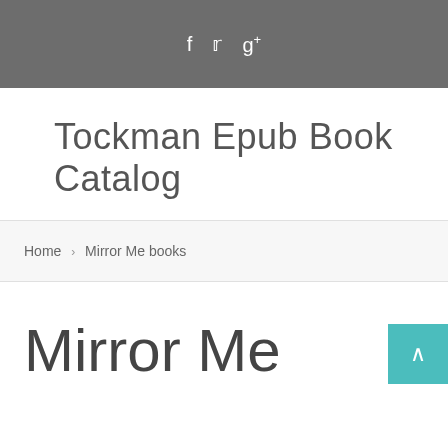f  𝕥  g+
Tockman Epub Book Catalog
Home › Mirror Me books
Mirror Me